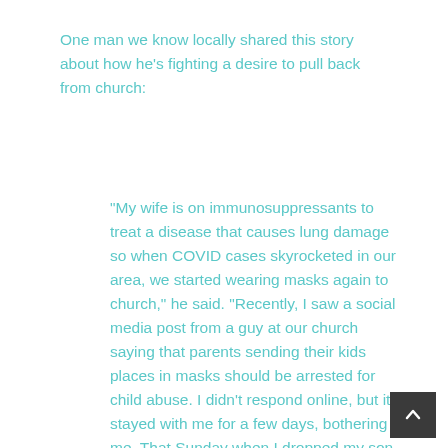One man we know locally shared this story about how he's fighting a desire to pull back from church:
“My wife is on immunosuppressants to treat a disease that causes lung damage so when COVID cases skyrocketed in our area, we started wearing masks again to church,” he said. “Recently,  I saw a social media post from a guy at our church saying that parents sending their kids places in masks should be arrested for child abuse.  I didn’t respond online, but it stayed with me for a few days, bothering me. That Sunday when  I dropped my son off, wearing his mask to help protect his mom, guess who was the volunteer in his